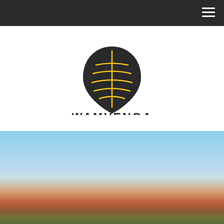[Figure (logo): Wamvenga Creative Coaching logo: a black guitar-pick shield shape with yellow curved lines inside resembling ribs or leaves, and a vertical yellow line. Below the shield, bold dark text reads WAMVENGA in wide spaced capitals, with CREATIVE COACHING in smaller spaced capitals beneath.]
[Figure (photo): A blurred outdoor scene showing a blue sky in the upper portion, with blurred colorful figures (red, green tones) suggesting people on a field or outdoor space. The image is heavily blurred/out of focus.]